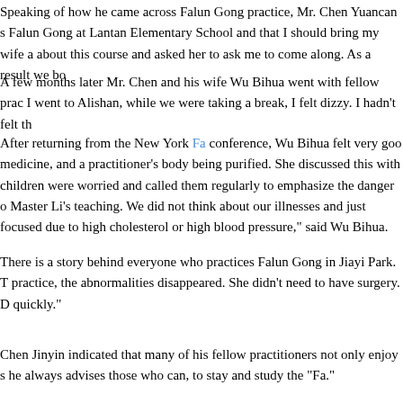Speaking of how he came across Falun Gong practice, Mr. Chen Yuancan s Falun Gong at Lantan Elementary School and that I should bring my wife a about this course and asked her to ask me to come along. As a result we bo
A few months later Mr. Chen and his wife Wu Bihua went with fellow prac I went to Alishan, while we were taking a break, I felt dizzy. I hadn't felt th
After returning from the New York Fa conference, Wu Bihua felt very goo medicine, and a practitioner's body being purified. She discussed this with children were worried and called them regularly to emphasize the danger o Master Li's teaching. We did not think about our illnesses and just focused due to high cholesterol or high blood pressure," said Wu Bihua.
There is a story behind everyone who practices Falun Gong in Jiayi Park. T practice, the abnormalities disappeared. She didn't need to have surgery. D quickly."
Chen Jinyin indicated that many of his fellow practitioners not only enjoy s he always advises those who can, to stay and study the "Fa."